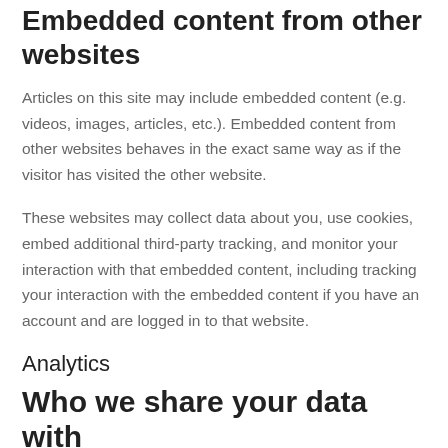Embedded content from other websites
Articles on this site may include embedded content (e.g. videos, images, articles, etc.). Embedded content from other websites behaves in the exact same way as if the visitor has visited the other website.
These websites may collect data about you, use cookies, embed additional third-party tracking, and monitor your interaction with that embedded content, including tracking your interaction with the embedded content if you have an account and are logged in to that website.
Analytics
Who we share your data with
We do not share your data with third party website